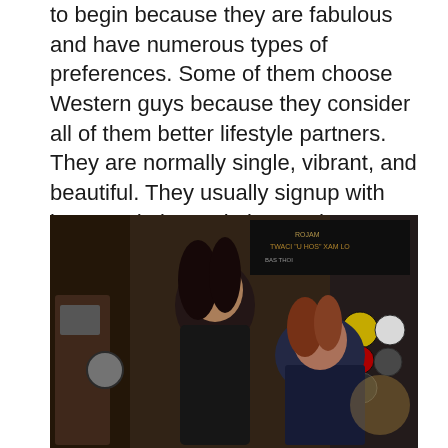to begin because they are fabulous and have numerous types of preferences. Some of them choose Western guys because they consider all of them better lifestyle partners. They are normally single, vibrant, and beautiful. They usually signup with internet dating websites and create profiles with realistic information and photographs. There are also other ways to find your future wife, which include personal advertising.
[Figure (photo): A photograph of two women at what appears to be a bar or nightclub setting, with signs and stickers visible in the background.]